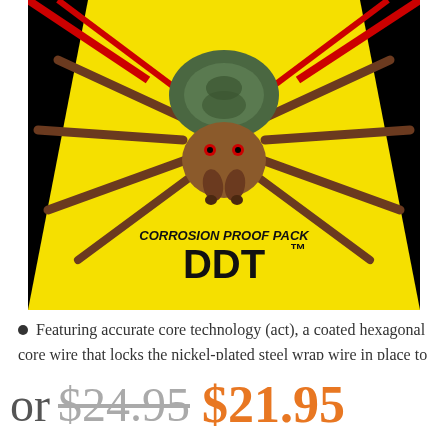[Figure (illustration): Product packaging image showing a spider on a yellow and black background. Text reads 'CORROSION PROOF PACK' and 'DDT™' in bold black letters on yellow background.]
Featuring accurate core technology (act), a coated hexagonal core wire that locks the nickel-plated steel wrap wire in place to increase
or $24.95 $21.95